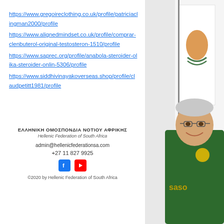https://www.gregoireclothing.co.uk/profile/patriciaclingman2000/profile
https://www.alignedmindset.co.uk/profile/comprar-clenbuterol-original-testosteron-1510/profile
https://www.saprec.org/profile/anabola-steroider-olika-steroider-onlin-5306/profile
https://www.siddhivinayakoverseas.shop/profile/claudpetitt1981/profile
[Figure (photo): Photo of a smiling man wearing a green South African rugby jersey, with a flag in the background]
ΕΛΛΗΝΙΚΗ ΟΜΟΣΠΟΝΔΙΑ ΝΟΤΙΟΥ ΑΦΡΙΚΗΣ
Hellenic Federation of South Africa
admin@hellenicfederationsa.com
+27 11 827 9925
[Figure (logo): Facebook and YouTube social media icons]
©2020 by Hellenic Federation of South Africa